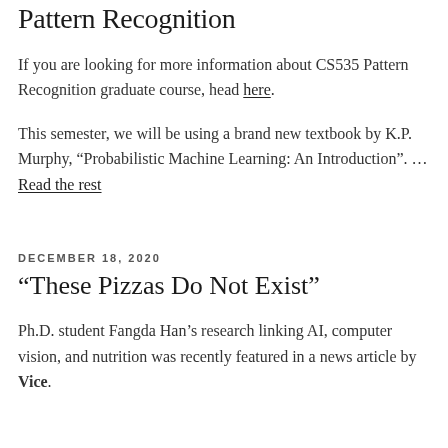Pattern Recognition
If you are looking for more information about CS535 Pattern Recognition graduate course, head here.
This semester, we will be using a brand new textbook by K.P. Murphy, “Probabilistic Machine Learning: An Introduction”. … Read the rest
DECEMBER 18, 2020
“These Pizzas Do Not Exist”
Ph.D. student Fangda Han’s research linking AI, computer vision, and nutrition was recently featured in a news article by Vice.